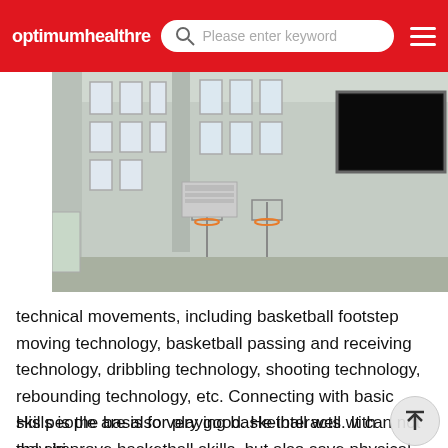optimumhealthre  Please enter keyword
[Figure (photo): Interior of a basketball gymnasium with tall windows on upper walls, basketball hoops visible, and a large black TV/display screen mounted on the right wall. High ceilings with exposed structural elements and overhead lighting.]
technical movements, including basketball footstep moving technology, basketball passing and receiving technology, dribbling technology, shooting technology, rebounding technology, etc. Connecting with basic skills is the basis for playing basketball well. It can not only improve basketball skills, but also save physical consumption and reduce injuriesHow about Huaxiang Shengshi international sports basketball class
His people are also very good. He interacts with the chi very cordially. He is very professional when guiding the children's basketball skills and game rules. The content of the